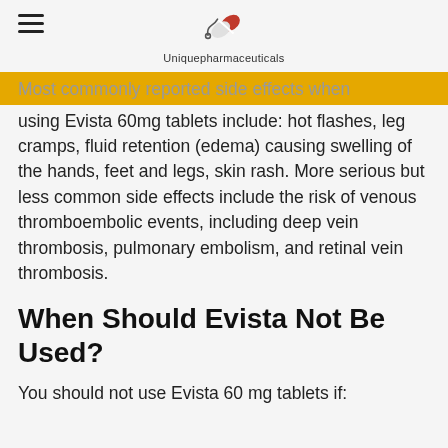Uniquepharmaceuticals
Most commonly reported side effects when using Evista 60mg tablets include: hot flashes, leg cramps, fluid retention (edema) causing swelling of the hands, feet and legs, skin rash. More serious but less common side effects include the risk of venous thromboembolic events, including deep vein thrombosis, pulmonary embolism, and retinal vein thrombosis.
When Should Evista Not Be Used?
You should not use Evista 60 mg tablets if: